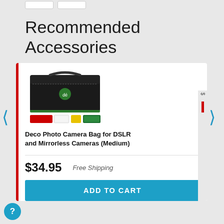Recommended Accessories
[Figure (photo): Camera bag product image with accessories - Deco Photo Camera Bag for DSLR and Mirrorless Cameras (Medium)]
Deco Photo Camera Bag for DSLR and Mirrorless Cameras (Medium)
$34.95
Free Shipping
ADD TO CART